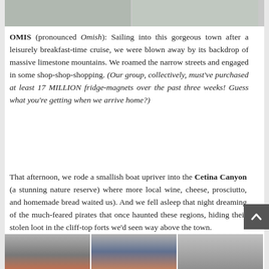[Figure (photo): Top portion of photos, cropped at top — two side-by-side images visible, showing white/light interior scenes]
OMIS (pronounced Omish): Sailing into this gorgeous town after a leisurely breakfast-time cruise, we were blown away by its backdrop of massive limestone mountains. We roamed the narrow streets and engaged in some shop-shop-shopping. (Our group, collectively, must've purchased at least 17 MILLION fridge-magnets over the past three weeks! Guess what you're getting when we arrive home?)
That afternoon, we rode a smallish boat upriver into the Cetina Canyon (a stunning nature reserve) where more local wine, cheese, prosciutto, and homemade bread waited us). And we fell asleep that night dreaming of the much-feared pirates that once haunted these regions, hiding their stolen loot in the cliff-top forts we'd seen way above the town.
[Figure (photo): Three side-by-side photos of rocky limestone mountains and canyon scenery around Omis, Croatia]